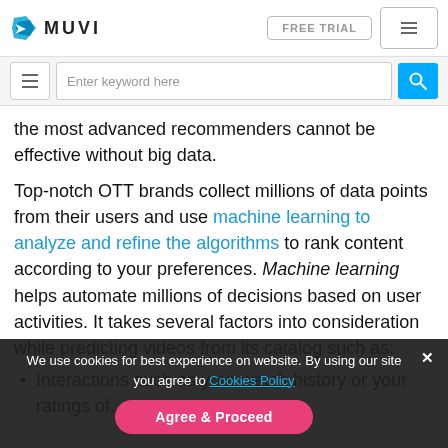MUVI | FREE TRIAL
the most advanced recommenders cannot be effective without big data.
Top-notch OTT brands collect millions of data points from their users and use machine learning to analyze and refine the algorithms to rank content according to your preferences. Machine learning helps automate millions of decisions based on user activities. It takes several factors into consideration while predicting videos from its catalog such as:
Interactions such as your watch history or your ratings of...